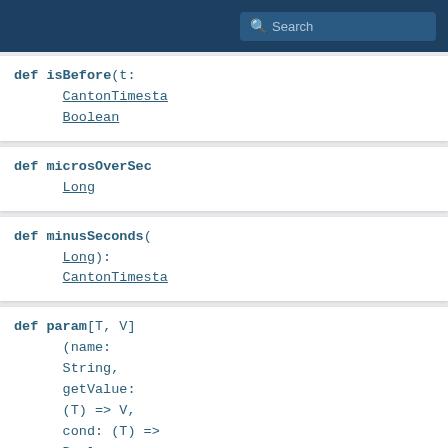Search
def isBefore(t: CantonTimesta Boolean
def microsOverSec Long
def minusSeconds( Long): CantonTimesta
def param[T, V] (name: String, getValue: (T) => V, cond: (T) => Boolean = (_: T) => true) (implicit arg0: Pretty[V]): (T) => Option[Tree]